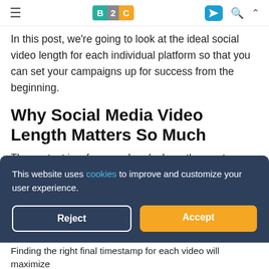B2C — navigation bar with hamburger menu, B2C logo, send icon, search icon, up arrow
In this post, we're going to look at the ideal social video length for each individual platform so that you can set your campaigns up for success from the beginning.
Why Social Media Video Length Matters So Much
The content is, of course, hands down the most important part of a video. It's what's going to share your message with viewers and hopefully drive whatever action or goal you're
This website uses cookies to improve and customize your user experience.
Reject
Accept
Finding the right final timestamp for each video will maximize
your return on investment and increase engagement and